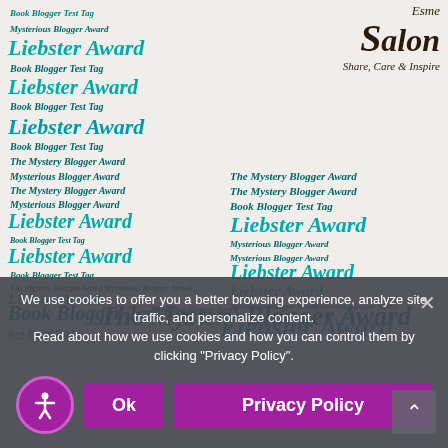[Figure (illustration): Word cloud in the shape of the letters 'b' or similar block letters, filled with repeating blog award names: Liebster Award, Book Blogger Test Tag, Mysterious Blogger Award, The Mystery Blogger Award — in teal/dark teal italic script on a light beige background]
[Figure (logo): Esme Salon logo: 'Esme' in small italic serif above large italic 'Salon' with tagline 'Share, Care & Inspire']
We use cookies to offer you a better browsing experience, analyze site traffic, and personalize content.
Read about how we use cookies and how you can control them by clicking "Privacy Policy".
Ok
Privacy Policy